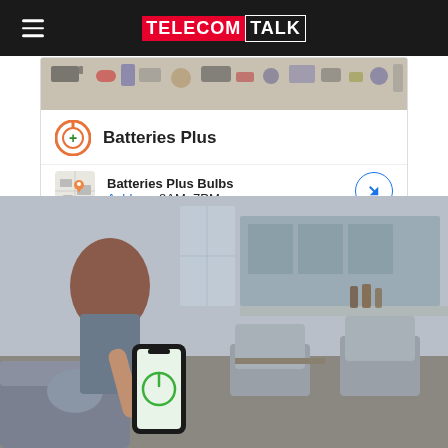TELECOMTALK
[Figure (screenshot): Batteries Plus advertisement with logo, store name, location in Ashburn, hours 8AM-7PM, and navigation button]
[Figure (photo): Person sitting on a couch holding a smartphone with a smart home power control app showing a green power button icon on the screen, living room in background]